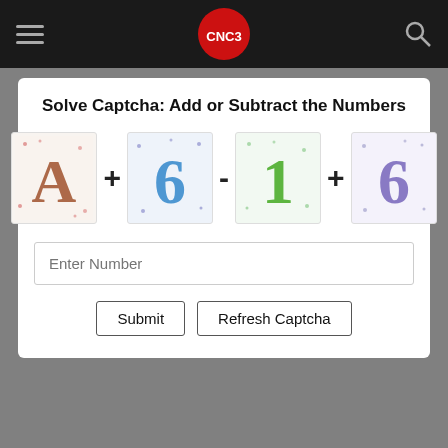CNC3 navigation bar with hamburger menu, CNC3 logo, and search icon
Solve Captcha: Add or Subtract the Numbers
[Figure (other): CAPTCHA image showing: image of letter A (brown) + image of number 6 (blue) - image of number 1 (green) + image of number 6 (purple), with operator symbols between images]
Enter Number
Submit | Refresh Captcha